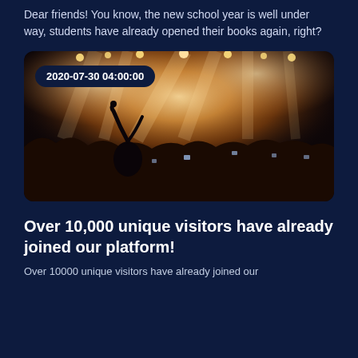Dear friends! You know, the new school year is well under way, students have already opened their books again, right?
[Figure (photo): Concert crowd photo with bright stage lights and a woman raising her arms, timestamp overlay showing 2020-07-30 04:00:00]
Over 10,000 unique visitors have already joined our platform!
Over 10000 unique visitors have already joined our